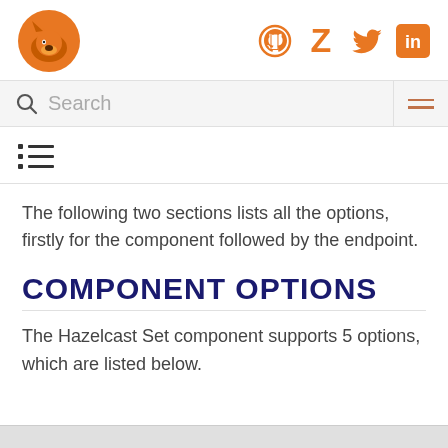[Figure (logo): Hazelcast fox logo in orange/brown]
[Figure (infographic): Social media icons: GitHub, Zulip, Twitter, LinkedIn in orange]
Search
[Figure (infographic): TOC/list icon]
The following two sections lists all the options, firstly for the component followed by the endpoint.
COMPONENT OPTIONS
The Hazelcast Set component supports 5 options, which are listed below.